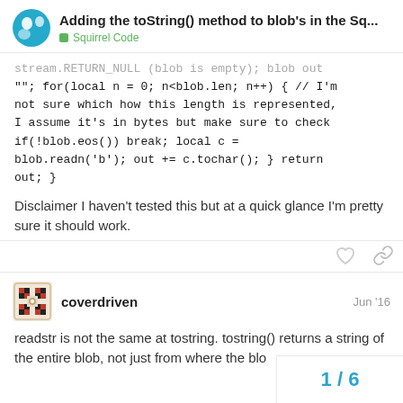Adding the toString() method to blob's in the Sq... | Squirrel Code
stream.RETURN_NULL (blob is empty); blob out ""; for(local n = 0; n<blob.len; n++) { // I'm not sure which how this length is represented, I assume it's in bytes but make sure to check if(!blob.eos()) break; local c = blob.readn('b'); out += c.tochar(); } return out; }
Disclaimer I haven't tested this but at a quick glance I'm pretty sure it should work.
coverdriven  Jun '16
readstr is not the same at tostring. toString() returns a string of the entire blob, not just from where the blo
1 / 6